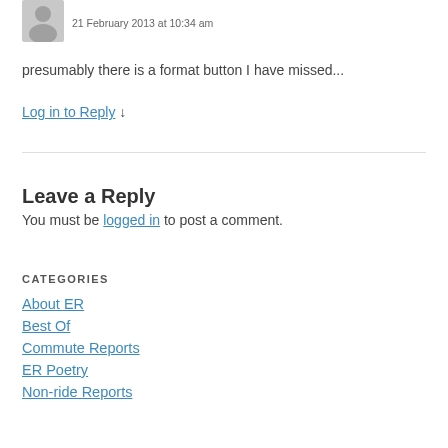[Figure (other): User avatar (grey silhouette icon)]
21 February 2013 at 10:34 am
presumably there is a format button I have missed...
Log in to Reply ↓
Leave a Reply
You must be logged in to post a comment.
CATEGORIES
About ER
Best Of
Commute Reports
ER Poetry
Non-ride Reports